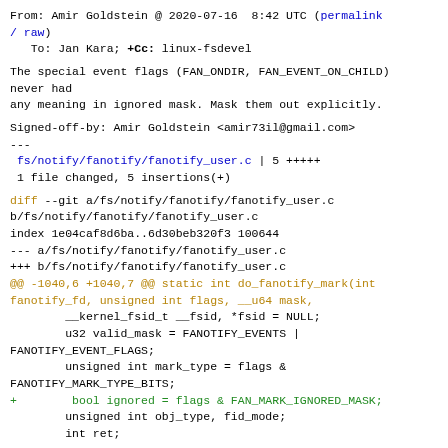From: Amir Goldstein @ 2020-07-16  8:42 UTC (permalink / raw)
   To: Jan Kara; +Cc: linux-fsdevel
The special event flags (FAN_ONDIR, FAN_EVENT_ON_CHILD) never had
any meaning in ignored mask. Mask them out explicitly.
Signed-off-by: Amir Goldstein <amir73il@gmail.com>
---
 fs/notify/fanotify/fanotify_user.c | 5 +++++
 1 file changed, 5 insertions(+)
diff --git a/fs/notify/fanotify/fanotify_user.c b/fs/notify/fanotify/fanotify_user.c
index 1e04caf8d6ba..6d30beb320f3 100644
--- a/fs/notify/fanotify/fanotify_user.c
+++ b/fs/notify/fanotify/fanotify_user.c
@@ -1040,6 +1040,7 @@ static int do_fanotify_mark(int fanotify_fd, unsigned int flags, __u64 mask,
         __kernel_fsid_t __fsid, *fsid = NULL;
         u32 valid_mask = FANOTIFY_EVENTS |
FANOTIFY_EVENT_FLAGS;
         unsigned int mark_type = flags &
FANOTIFY_MARK_TYPE_BITS;
+        bool ignored = flags & FAN_MARK_IGNORED_MASK;
         unsigned int obj_type, fid_mode;
         int ret;

@@ -1087,6 +1088,10 @@ static int do_fanotify_mark(int
@@ -1087,6 +1088,10 @@ static int do_fanotify mark(int